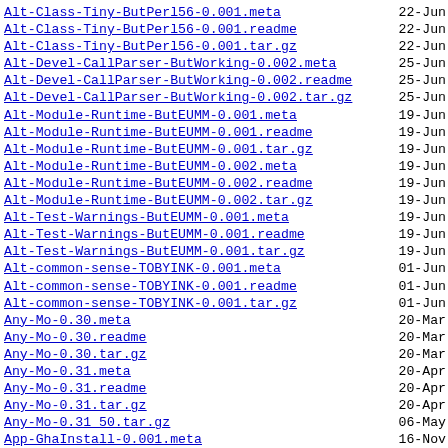Alt-Class-Tiny-ButPerl56-0.001.meta    22-Jun
Alt-Class-Tiny-ButPerl56-0.001.readme  22-Jun
Alt-Class-Tiny-ButPerl56-0.001.tar.gz  22-Jun
Alt-Devel-CallParser-ButWorking-0.002.meta    25-Jun
Alt-Devel-CallParser-ButWorking-0.002.readme  25-Jun
Alt-Devel-CallParser-ButWorking-0.002.tar.gz  25-Jun
Alt-Module-Runtime-ButEUMM-0.001.meta    19-Jun
Alt-Module-Runtime-ButEUMM-0.001.readme  19-Jun
Alt-Module-Runtime-ButEUMM-0.001.tar.gz  19-Jun
Alt-Module-Runtime-ButEUMM-0.002.meta    19-Jun
Alt-Module-Runtime-ButEUMM-0.002.readme  19-Jun
Alt-Module-Runtime-ButEUMM-0.002.tar.gz  19-Jun
Alt-Test-Warnings-ButEUMM-0.001.meta    19-Jun
Alt-Test-Warnings-ButEUMM-0.001.readme  19-Jun
Alt-Test-Warnings-ButEUMM-0.001.tar.gz  19-Jun
Alt-common-sense-TOBYINK-0.001.meta    01-Jun
Alt-common-sense-TOBYINK-0.001.readme  01-Jun
Alt-common-sense-TOBYINK-0.001.tar.gz  01-Jun
Any-Mo-0.30.meta    20-Mar
Any-Mo-0.30.readme  20-Mar
Any-Mo-0.30.tar.gz  20-Mar
Any-Mo-0.31.meta    20-Apr
Any-Mo-0.31.readme  20-Apr
Any-Mo-0.31.tar.gz  20-Apr
Any-Mo-0.31 50.tar.gz  06-May
App-GhaInstall-0.001.meta    16-Nov
App-GhaInstall-0.001.readme  16-Nov
App-GhaInstall-0.001.tar.gz  16-Nov
App-GhaInstall-0.002.meta    16-Nov
App-GhaInstall-0.002.readme  16-Nov